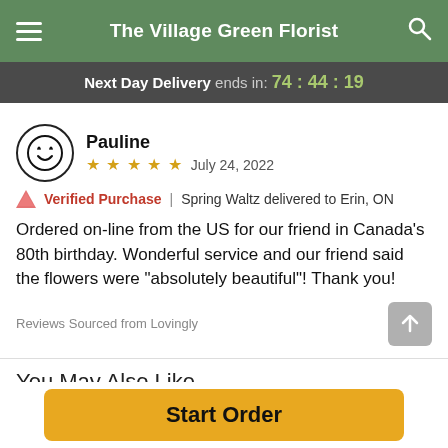The Village Green Florist
Next Day Delivery ends in: 74:44:19
Pauline
★ ★ ★ ★ ★   July 24, 2022
🛍 Verified Purchase  |  Spring Waltz delivered to Erin, ON
Ordered on-line from the US for our friend in Canada's 80th birthday. Wonderful service and our friend said the flowers were "absolutely beautiful"! Thank you!
Reviews Sourced from Lovingly
You May Also Like
Start Order